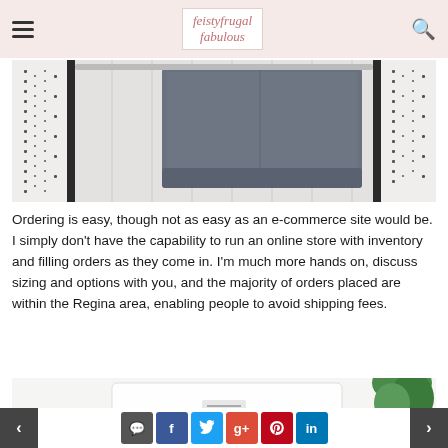feistyfrugalfabulous — navigation header with hamburger menu and search icon
[Figure (photo): A grey folded t-shirt or tank top displayed against a black and white patterned textile background, showing clothing merchandise]
Ordering is easy, though not as easy as an e-commerce site would be. I simply don't have the capability to run an online store with inventory and filling orders as they come in. I'm much more hands on, discuss sizing and options with you, and the majority of orders placed are within the Regina area, enabling people to avoid shipping fees.
[Figure (photo): A white garment or clothing item laid flat on a white surface, with green plant visible at the edge]
Navigation and social sharing bar: previous, comment, Facebook, Twitter, Google+, Pinterest, LinkedIn, next